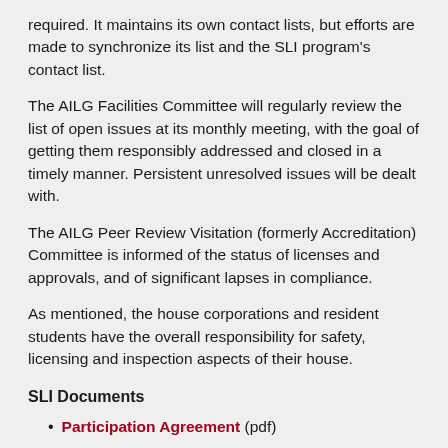required. It maintains its own contact lists, but efforts are made to synchronize its list and the SLI program's contact list.
The AILG Facilities Committee will regularly review the list of open issues at its monthly meeting, with the goal of getting them responsibly addressed and closed in a timely manner. Persistent unresolved issues will be dealt with.
The AILG Peer Review Visitation (formerly Accreditation) Committee is informed of the status of licenses and approvals, and of significant lapses in compliance.
As mentioned, the house corporations and resident students have the overall responsibility for safety, licensing and inspection aspects of their house.
SLI Documents
Participation Agreement (pdf)
SLI Program Specification (pdf)